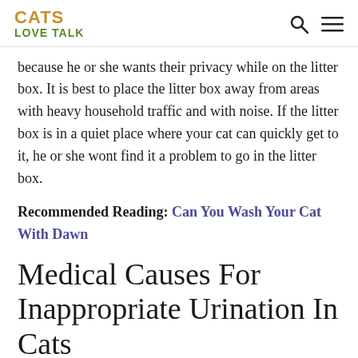CATS LOVE TALK
because he or she wants their privacy while on the litter box. It is best to place the litter box away from areas with heavy household traffic and with noise. If the litter box is in a quiet place where your cat can quickly get to it, he or she wont find it a problem to go in the litter box.
Recommended Reading: Can You Wash Your Cat With Dawn
Medical Causes For Inappropriate Urination In Cats
Many pet owners become frustrated when their cat chooses to urinate in locations other than the litter box. However, this unpleasant behavior may be a clue that your